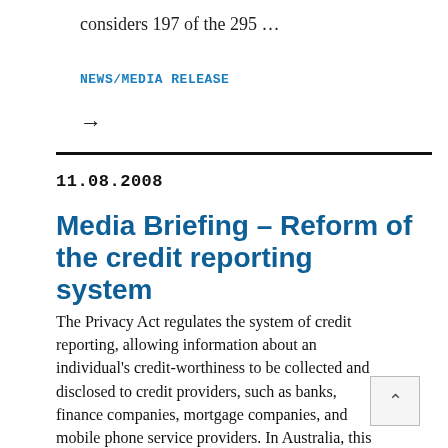considers 197 of the 295 …
NEWS/MEDIA RELEASE
→
Media Briefing – Reform of the credit reporting system
11.08.2008
The Privacy Act regulates the system of credit reporting, allowing information about an individual's credit-worthiness to be collected and disclosed to credit providers, such as banks, finance companies, mortgage companies, and mobile phone service providers. In Australia, this information is collected by a small number of specialist credit reporting companies from credit providers and from